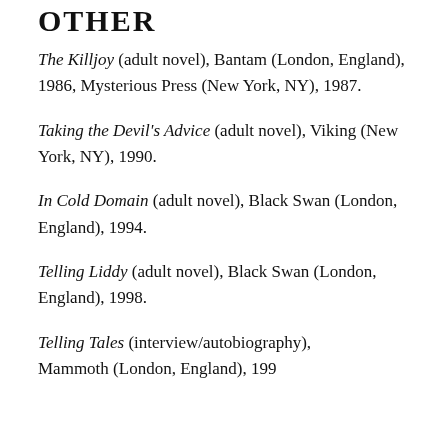OTHER
The Killjoy (adult novel), Bantam (London, England), 1986, Mysterious Press (New York, NY), 1987.
Taking the Devil's Advice (adult novel), Viking (New York, NY), 1990.
In Cold Domain (adult novel), Black Swan (London, England), 1994.
Telling Liddy (adult novel), Black Swan (London, England), 1998.
Telling Tales (interview/autobiography), Mammoth (London, England), 199...